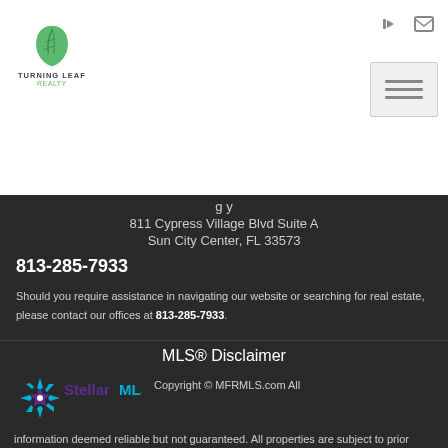[Figure (logo): Turning Leaf Realty logo with green leaf icon]
811 Cypress Village Blvd Suite A
Sun City Center, FL 33573
813-285-7933
Should you require assistance in navigating our website or searching for real estate, please contact our offices at 813-285-7933.
MLS® Disclaimer
[Figure (logo): Stellar MLS logo]
Copyright © MFRMLS.com All information deemed reliable but not guaranteed. All properties are subject to prior sale, change or withdrawal. Neither listing